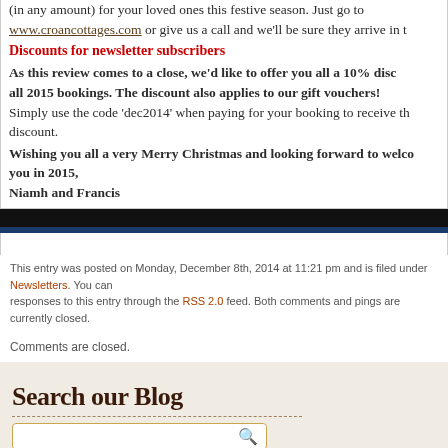(in any amount) for your loved ones this festive season. Just go to www.croancottages.com or give us a call and we'll be sure they arrive in t
Discounts for newsletter subscribers
As this review comes to a close, we'd like to offer you all a 10% disco all 2015 bookings. The discount also applies to our gift vouchers! Simply use the code 'dec2014' when paying for your booking to receive th discount.
Wishing you all a very Merry Christmas and looking forward to welco you in 2015, Niamh and Francis
This entry was posted on Monday, December 8th, 2014 at 11:21 pm and is filed under Newsletters. You can responses to this entry through the RSS 2.0 feed. Both comments and pings are currently closed.
Comments are closed.
Search our Blog
Recent Posts